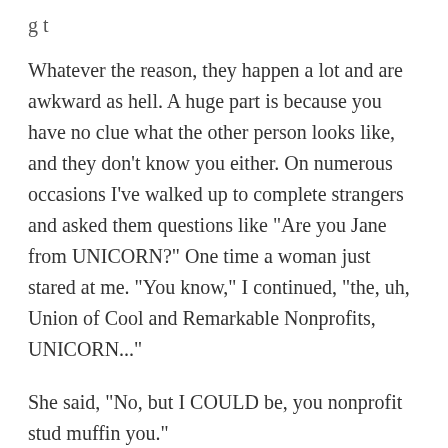g t
Whatever the reason, they happen a lot and are awkward as hell. A huge part is because you have no clue what the other person looks like, and they don’t know you either. On numerous occasions I’ve walked up to complete strangers and asked them questions like “Are you Jane from UNICORN?” One time a woman just stared at me. “You know,” I continued, “the, uh, Union of Cool and Remarkable Nonprofits, UNICORN...”
She said, “No, but I COULD be, you nonprofit stud muffin you.”
All right, no one ever said that, but that would